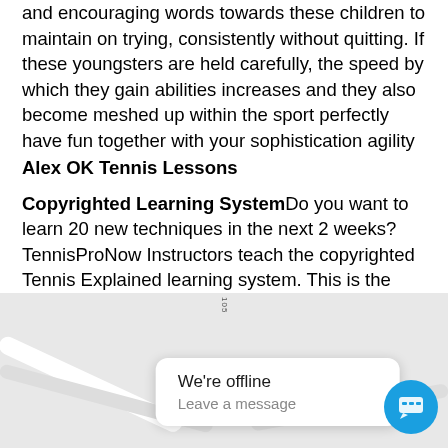and encouraging words towards these children to maintain on trying, consistently without quitting. If these youngsters are held carefully, the speed by which they gain abilities increases and they also become meshed up within the sport perfectly have fun together with your sophistication agility
Alex OK Tennis Lessons
Copyrighted Learning System Do you want to learn 20 new techniques in the next 2 weeks? TennisProNow Instructors teach the copyrighted Tennis Explained learning system. This is the fastest step-by-step system out available in Alex OK.
[Figure (screenshot): Map area showing street layout with a chat popup overlay saying 'We're offline / Leave a message' and a blue chat icon button in the bottom right]